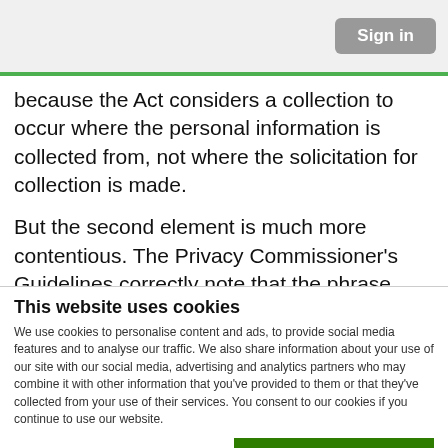Sign in
because the Act considers a collection to occur where the personal information is collected from, not where the solicitation for collection is made.
But the second element is much more contentious. The Privacy Commissioner's Guidelines correctly note that the phrase 'carries on business in
This website uses cookies
We use cookies to personalise content and ads, to provide social media features and to analyse our traffic. We also share information about your use of our site with our social media, advertising and analytics partners who may combine it with other information that you've provided to them or that they've collected from your use of their services. You consent to our cookies if you continue to use our website.
OK
Necessary
Preferences
Statistics
Marketing
Show details